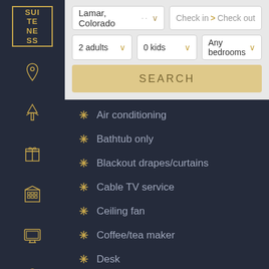[Figure (logo): Suiteness logo - gold bordered box with text SUI TEN ESS]
[Figure (illustration): Sidebar navigation icons: location pin, tower/antenna, gift box, building/hotel, TV/monitor, and person/user icons in gold on dark navy background]
Lamar, Colorado
Check in  > Check out
2 adults
0 kids
Any bedrooms
SEARCH
Air conditioning
Bathtub only
Blackout drapes/curtains
Cable TV service
Ceiling fan
Coffee/tea maker
Desk
Free long-distance calls